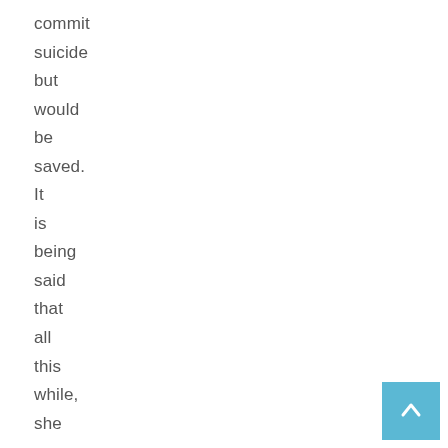commit suicide but would be saved. It is being said that all this while, she was waiting